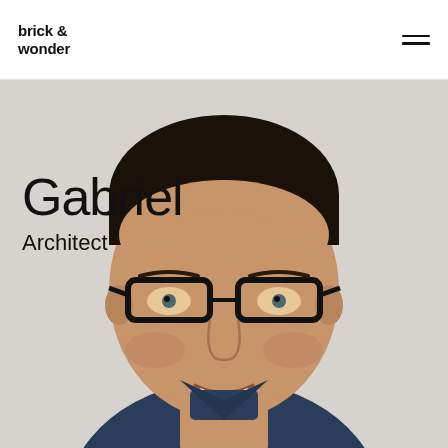brick & wonder
[Figure (photo): Headshot photo of Gabriel, an architect, a middle-aged man with dark hair, glasses, wearing a dark navy shirt, smiling, photographed against a light grey background.]
Gabriel
Architect